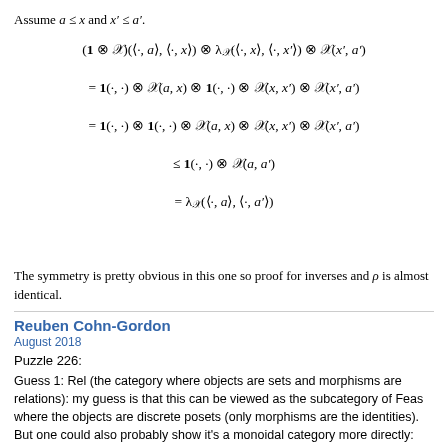Assume a ≤ x and x' ≤ a'.
The symmetry is pretty obvious in this one so proof for inverses and ρ is almost identical.
Reuben Cohn-Gordon
August 2018
Puzzle 226:
Guess 1: Rel (the category where objects are sets and morphisms are relations): my guess is that this can be viewed as the subcategory of Feas where the objects are discrete posets (only morphisms are the identities). But one could also probably show it's a monoidal category more directly: the cartesian product would be a tensor; for example, {1}xA is naturally isomorphic to A, and cartesian product is associative (up to isomorphism).